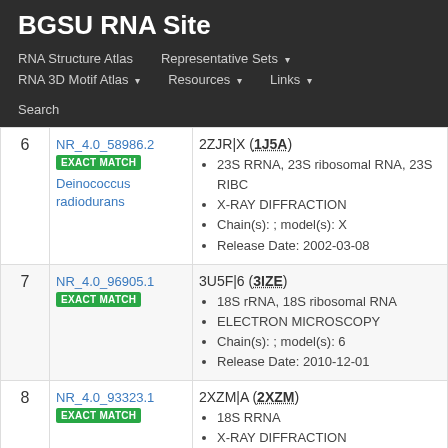BGSU RNA Site
RNA Structure Atlas | Representative Sets ▾ | RNA 3D Motif Atlas ▾ | Resources ▾ | Links ▾ | Search
| # | ID | Entry |
| --- | --- | --- |
| 6 | NR_4.0_58986.2 EXACT MATCH Deinococcus radiodurans | 2ZJR|X (1J5A) • 23S RRNA, 23S ribosomal RNA, 23S RIBO... • X-RAY DIFFRACTION • Chain(s): ; model(s): X • Release Date: 2002-03-08 |
| 7 | NR_4.0_96905.1 EXACT MATCH | 3U5F|6 (3IZE) • 18S rRNA, 18S ribosomal RNA • ELECTRON MICROSCOPY • Chain(s): ; model(s): 6 • Release Date: 2010-12-01 |
| 8 | NR_4.0_93323.1 EXACT MATCH | 2XZM|A (2XZM) • 18S RRNA • X-RAY DIFFRACTION |